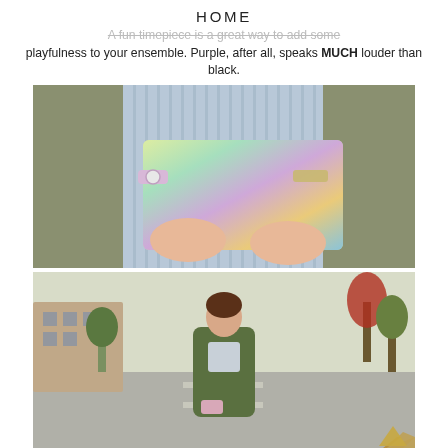HOME
A fun timepiece is a great way to add some playfulness to your ensemble. Purple, after all, speaks MUCH louder than black.
[Figure (photo): Close-up of a woman's hands holding an iridescent holographic clutch purse. She wears a lavender watch, gold/silver spike bracelet, and multiple rings. She is wearing a green military-style jacket over a blue striped dress.]
[Figure (photo): A woman walking on a city street wearing a green military/utility jacket over a blue striped dress. She is carrying a small pink/lavender clutch. The setting is an urban street with brownstone buildings and trees in the background.]